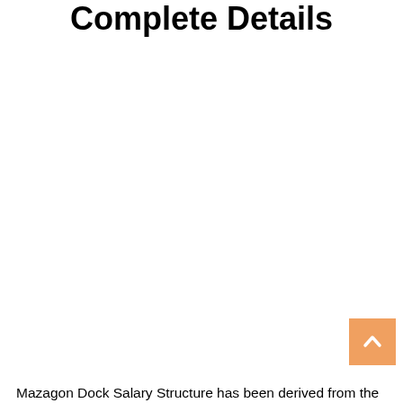Salary Structure Complete Details
Mazagon Dock Salary Structure has been derived from the
[Figure (other): Orange scroll-to-top button with upward arrow chevron icon]